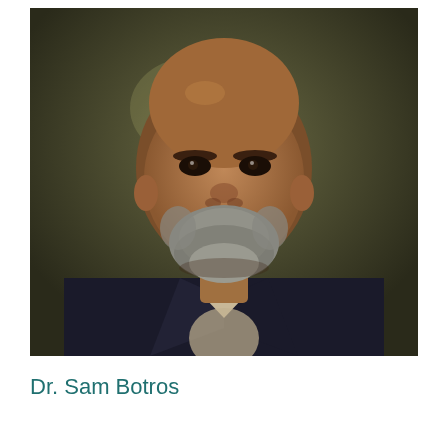[Figure (photo): Professional headshot portrait of Dr. Sam Botros, a bald man with a salt-and-pepper beard, wearing a dark blazer over a light-colored shirt, photographed against a dark olive/green blurred background.]
Dr. Sam Botros